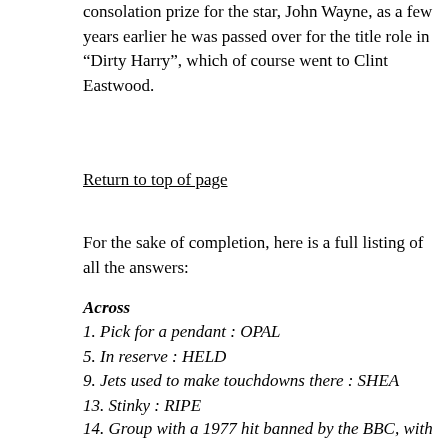consolation prize for the star, John Wayne, as a few years earlier he was passed over for the title role in “Dirty Harry”, which of course went to Clint Eastwood.
Return to top of page
For the sake of completion, here is a full listing of all the answers:
Across
1. Pick for a pendant : OPAL
5. In reserve : HELD
9. Jets used to make touchdowns there : SHEA
13. Stinky : RIPE
14. Group with a 1977 hit banned by the BBC, with “the” : SEX PISTOLS
16. Polo alternative : IZOD
17. The basics : BRASS TACKS
18. Narc’s measures: Abbr. : OZS